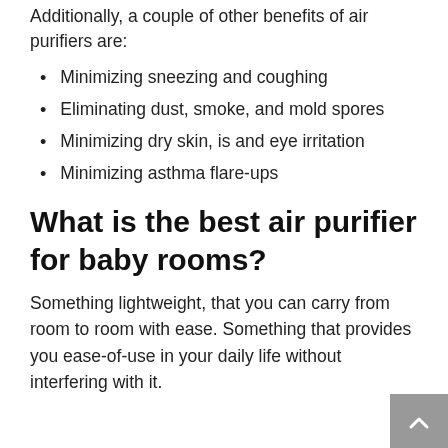Additionally, a couple of other benefits of air purifiers are:
Minimizing sneezing and coughing
Eliminating dust, smoke, and mold spores
Minimizing dry skin, is and eye irritation
Minimizing asthma flare-ups
What is the best air purifier for baby rooms?
Something lightweight, that you can carry from room to room with ease. Something that provides you ease-of-use in your daily life without interfering with it.